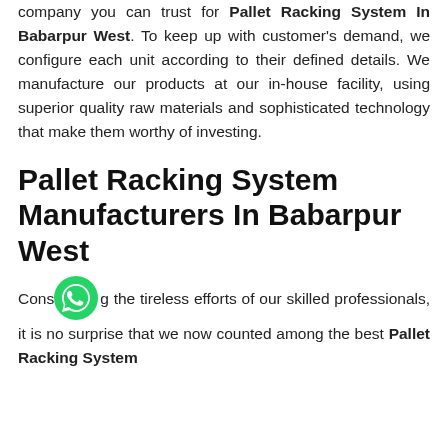company you can trust for Pallet Racking System In Babarpur West. To keep up with customer's demand, we configure each unit according to their defined details. We manufacture our products at our in-house facility, using superior quality raw materials and sophisticated technology that make them worthy of investing.
Pallet Racking System Manufacturers In Babarpur West
Considering the tireless efforts of our skilled professionals, it is no surprise that we now counted among the best Pallet Racking System